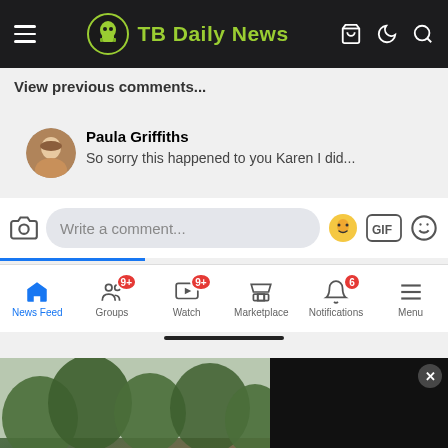TB Daily News
View previous comments...
Paula Griffiths — So sorry this happened to you Karen. I did...
Write a comment...
[Figure (screenshot): Facebook bottom navigation bar with icons: News Feed (active, blue), Groups (9+ badge), Watch (9+ badge), Marketplace, Notifications (6 badge), Menu]
[Figure (photo): Outdoor photo of trees and rooftop on left side; black video player panel on right side with close X button]